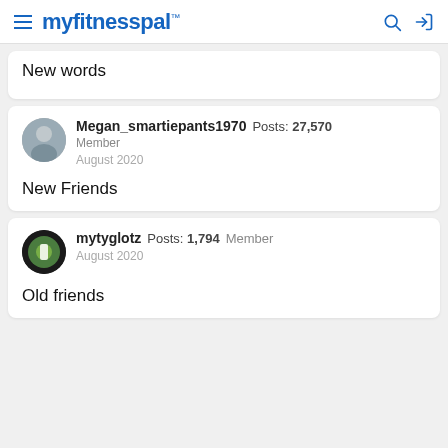myfitnesspal
New words
Megan_smartiepants1970  Posts: 27,570  Member  August 2020
New Friends
mytyglotz  Posts: 1,794  Member  August 2020
Old friends